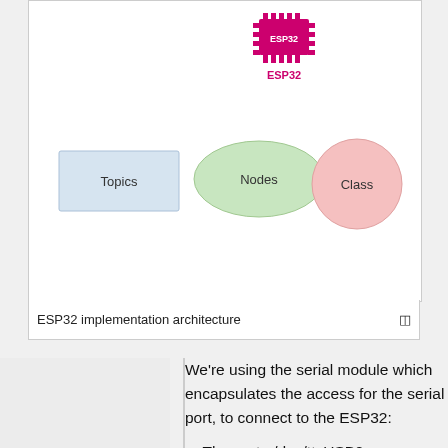[Figure (network-graph): ESP32 implementation architecture diagram showing ESP32 chip icon at top, with legend showing Topics (blue rectangle), Nodes (green ellipse), and Class (pink circle)]
ESP32 implementation architecture
We're using the serial module which encapsulates the access for the serial port, to connect to the ESP32:
The port : /dev/ttyUSB0
The baudrate : 500,000 (500 kbps)
Our format to send messages to the ESP32 consist of a string with one single letter, s of steering and t for throttle, followed by an underscore and the desired value.
Example: